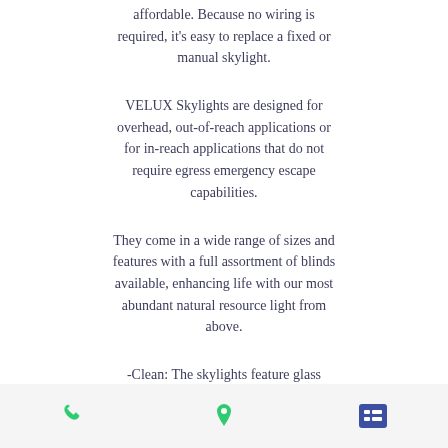affordable. Because no wiring is required, it's easy to replace a fixed or manual skylight.
VELUX Skylights are designed for overhead, out-of-reach applications or for in-reach applications that do not require egress emergency escape capabilities.
They come in a wide range of sizes and features with a full assortment of blinds available, enhancing life with our most abundant natural resource light from above.
-Clean: The skylights feature glass coating to keep your skylight cleaner longer, leaving skylights virtually spotless.
-Quiet: Reduces unwanted outside
phone | location | menu icons